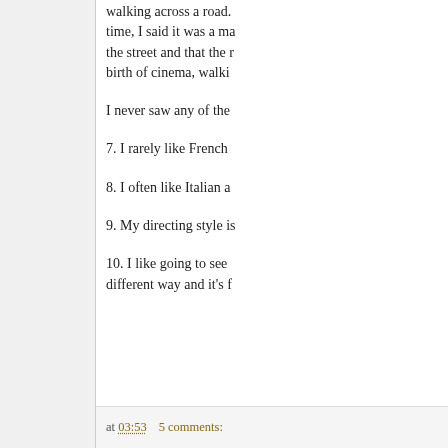walking across a road. time, I said it was a ma the street and that the r birth of cinema, walki
I never saw any of the
7. I rarely like French
8. I often like Italian a
9. My directing style is
10. I like going to see different way and it's f
at 03:53   5 comments: